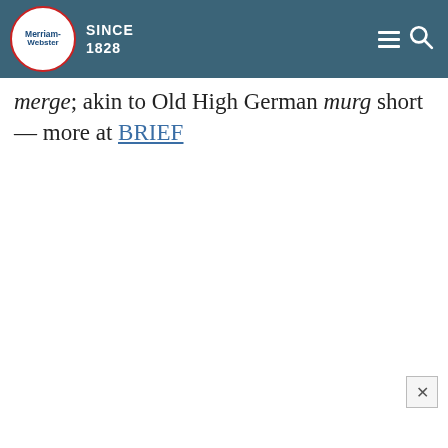[Figure (logo): Merriam-Webster logo with navigation header bar in teal/dark blue, featuring the MW circular logo with 'SINCE 1828', hamburger menu icon, and search icon]
merge; akin to Old High German murg short — more at BRIEF